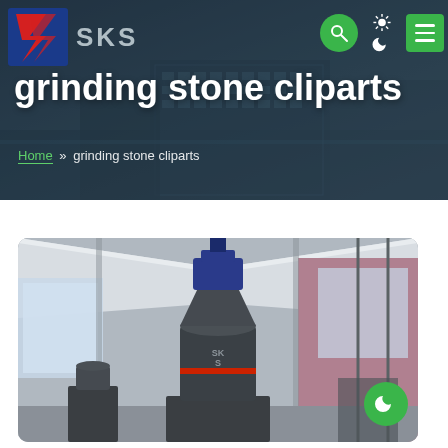SKS
grinding stone cliparts
Home » grinding stone cliparts
[Figure (photo): Industrial grinding mill machine inside a large warehouse/industrial building with tent roof structure. The machine is dark grey/black cylindrical grinding mill. Background shows industrial shed with pink corrugated roof panels and natural lighting.]